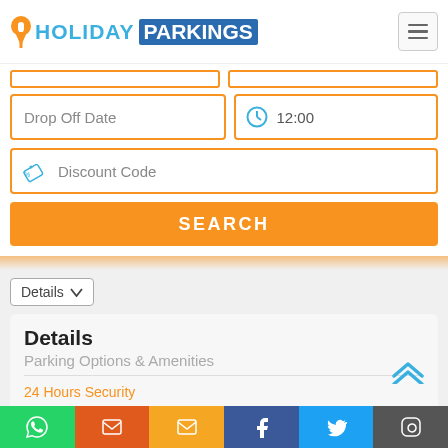[Figure (logo): Holiday Parkings logo with parking pin icon, 'HOLIDAY' in light blue and 'PARKINGS' in white on dark blue background]
[Figure (screenshot): Drop Off Date input field with orange border]
[Figure (screenshot): Time input field showing 12:00 with clock icon]
[Figure (screenshot): Discount Code input field with tag icon]
SEARCH
Details
Details
Parking Options & Amenities
24 Hours Security
CCTV